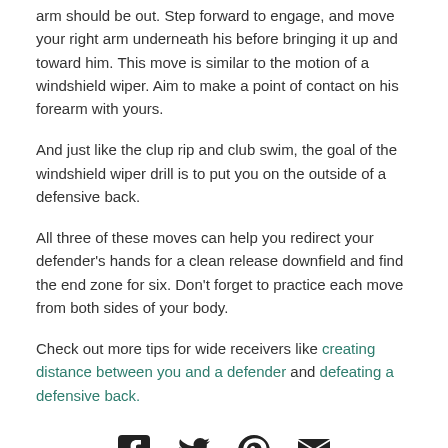arm should be out. Step forward to engage, and move your right arm underneath his before bringing it up and toward him. This move is similar to the motion of a windshield wiper. Aim to make a point of contact on his forearm with yours.
And just like the clup rip and club swim, the goal of the windshield wiper drill is to put you on the outside of a defensive back.
All three of these moves can help you redirect your defender's hands for a clean release downfield and find the end zone for six. Don't forget to practice each move from both sides of your body.
Check out more tips for wide receivers like creating distance between you and a defender and defeating a defensive back.
[Figure (infographic): Social sharing icons: Facebook, Twitter, Pinterest, Email]